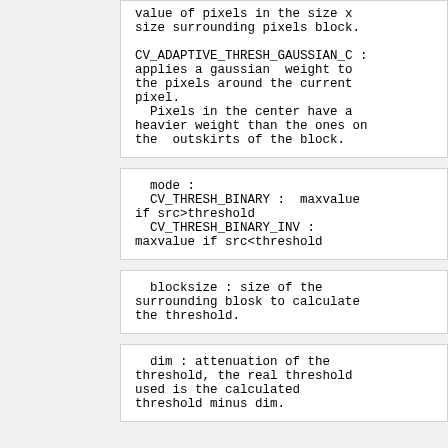value of pixels in the size x size surrounding pixels block.

CV_ADAPTIVE_THRESH_GAUSSIAN_C : applies a gaussian  weight to the pixels around the current pixel.
  Pixels in the center have a heavier weight than the ones on the  outskirts of the block.
mode :
  CV_THRESH_BINARY :  maxvalue if src>threshold
  CV_THRESH_BINARY_INV : maxvalue if src<threshold
blocksize : size of the surrounding blosk to calculate the threshold.
dim : attenuation of the threshold, the real threshold used is the calculated threshold minus dim.